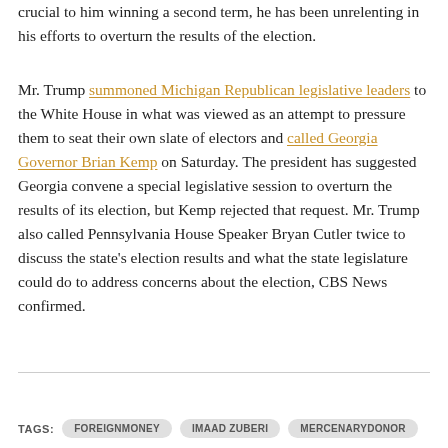crucial to him winning a second term, he has been unrelenting in his efforts to overturn the results of the election.
Mr. Trump summoned Michigan Republican legislative leaders to the White House in what was viewed as an attempt to pressure them to seat their own slate of electors and called Georgia Governor Brian Kemp on Saturday. The president has suggested Georgia convene a special legislative session to overturn the results of its election, but Kemp rejected that request. Mr. Trump also called Pennsylvania House Speaker Bryan Cutler twice to discuss the state's election results and what the state legislature could do to address concerns about the election, CBS News confirmed.
TAGS: FOREIGNMONEY  IMAAD ZUBERI  MERCENARYDONOR